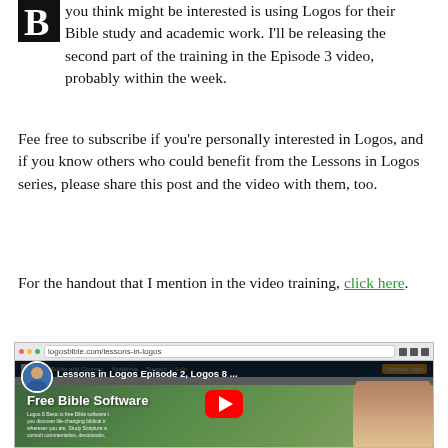you think might be interested is using Logos for their Bible study and academic work. I'll be releasing the second part of the training in the Episode 3 video, probably within the week.
Fee free to subscribe if you're personally interested in Logos, and if you know others who could benefit from the Lessons in Logos series, please share this post and the video with them, too.
For the handout that I mention in the video training, click here.
[Figure (screenshot): Screenshot of a YouTube video titled 'Lessons in Logos Episode 2, Logos 8...' showing a webpage with 'Free Bible Software' heading, Logos Bible Software webpage, a person with glasses in background, and a YouTube play button overlay.]